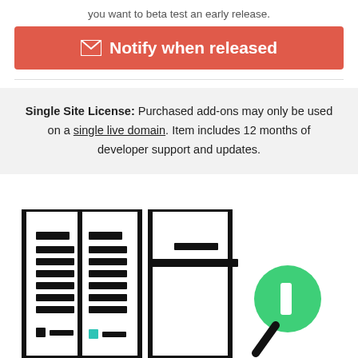you want to beta test an early release.
✉ Notify when released
Single Site License: Purchased add-ons may only be used on a single live domain. Item includes 12 months of developer support and updates.
[Figure (illustration): Line-art illustration showing two document pages side by side with text lines, a teal small square at bottom, and a partial third document with a green circle (magnifier/search) icon on the right side.]